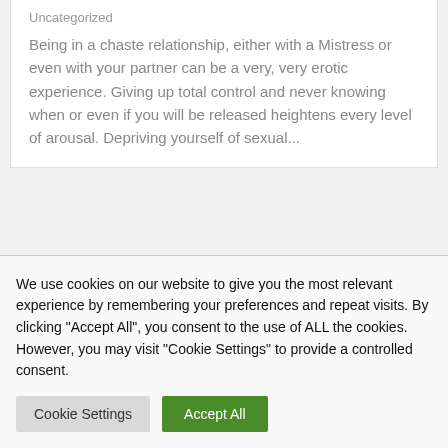Uncategorized
Being in a chaste relationship, either with a Mistress or even with your partner can be a very, very erotic experience. Giving up total control and never knowing when or even if you will be released heightens every level of arousal. Depriving yourself of sexual...
Humiliation With a Blow Up Doll
We use cookies on our website to give you the most relevant experience by remembering your preferences and repeat visits. By clicking "Accept All", you consent to the use of ALL the cookies. However, you may visit "Cookie Settings" to provide a controlled consent.